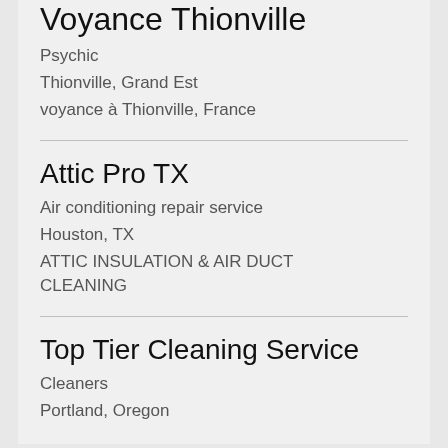Voyance Thionville
Psychic
Thionville, Grand Est
voyance à Thionville, France
Attic Pro TX
Air conditioning repair service
Houston, TX
ATTIC INSULATION & AIR DUCT CLEANING
Top Tier Cleaning Service
Cleaners
Portland, Oregon